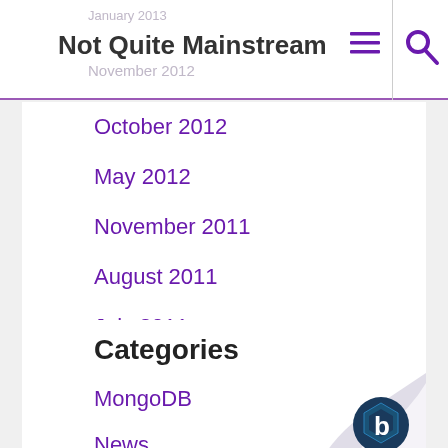Not Quite Mainstream
October 2012
May 2012
November 2011
August 2011
July 2011
Categories
MongoDB
News